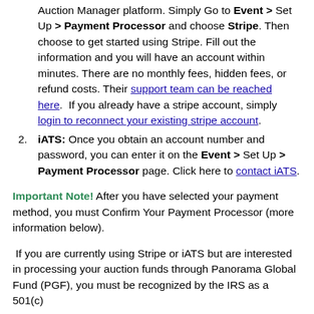Auction Manager platform. Simply Go to Event > Set Up > Payment Processor and choose Stripe. Then choose to get started using Stripe. Fill out the information and you will have an account within minutes. There are no monthly fees, hidden fees, or refund costs. Their support team can be reached here. If you already have a stripe account, simply login to reconnect your existing stripe account.
iATS: Once you obtain an account number and password, you can enter it on the Event > Set Up > Payment Processor page. Click here to contact iATS.
Important Note! After you have selected your payment method, you must Confirm Your Payment Processor (more information below).
If you are currently using Stripe or iATS but are interested in processing your auction funds through Panorama Global Fund (PGF), you must be recognized by the IRS as a 501(c)